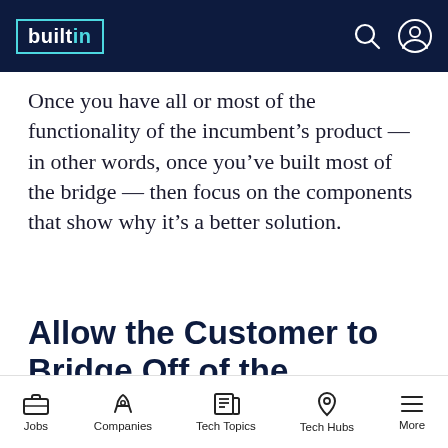builtin
Once you have all or most of the functionality of the incumbent’s product — in other words, once you’ve built most of the bridge — then focus on the components that show why it’s a better solution.
Allow the Customer to Bridge Off of the Incumbent Path
1 Remaining Article.
Get unlimited access to all Built In content by joining our free community.
Jobs  Companies  Tech Topics  Tech Hubs  More